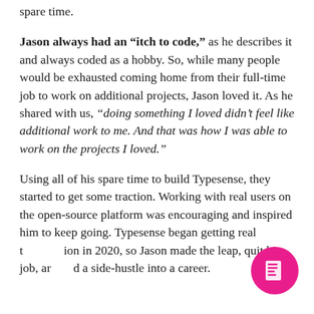spare time.
Jason always had an “itch to code,” as he describes it and always coded as a hobby. So, while many people would be exhausted coming home from their full-time job to work on additional projects, Jason loved it. As he shared with us, “doing something I loved didn’t feel like additional work to me. And that was how I was able to work on the projects I loved.”
Using all of his spare time to build Typesense, they started to get some traction. Working with real users on the open-source platform was encouraging and inspired him to keep going. Typesense began getting real traction in 2020, so Jason made the leap, quit his job, and turned a side-hustle into a career.